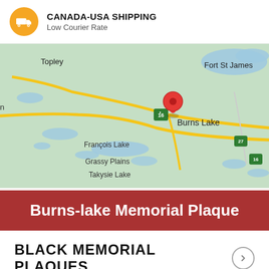CANADA-USA SHIPPING
Low Courier Rate
[Figure (map): Google Maps screenshot showing Burns Lake, BC, Canada with surrounding areas including Topley, Fort St James, François Lake, Grassy Plains, Takysie Lake, Fraser Lake, Fort Fraser. A red location pin marks Burns Lake. Highway 16 is shown running east-west through the area.]
Burns-lake Memorial Plaque
BLACK MEMORIAL PLAQUES